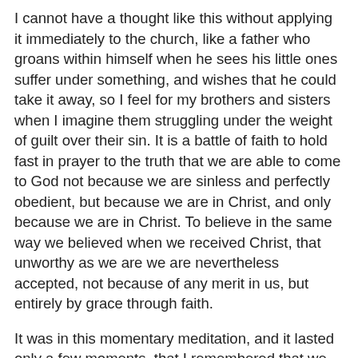I cannot have a thought like this without applying it immediately to the church, like a father who groans within himself when he sees his little ones suffer under something, and wishes that he could take it away, so I feel for my brothers and sisters when I imagine them struggling under the weight of guilt over their sin. It is a battle of faith to hold fast in prayer to the truth that we are able to come to God not because we are sinless and perfectly obedient, but because we are in Christ, and only because we are in Christ. To believe in the same way we believed when we received Christ, that unworthy as we are we are nevertheless accepted, not because of any merit in us, but entirely by grace through faith.
It was in this momentary meditation, and it lasted only a few moments, that I remembered that we who are in Christ must come to a throne of grace each and every time. It dawned on me that the only way we could merit coming to God in our own righteousness would be if we had lived and continue to live without sin, and in perfect obedience. Since we all have sin in our lives already, even if we lived the last week in perfect obedience we wouldn't qualify as acceptable to God